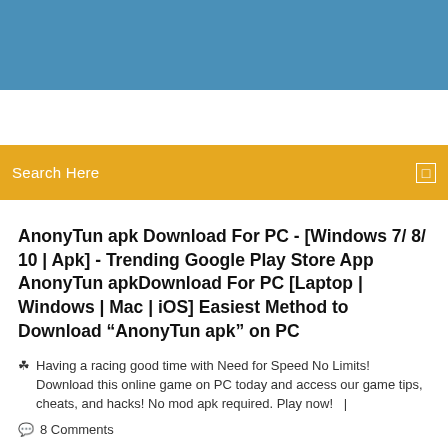[Figure (other): Blue header banner at top of webpage]
[Figure (other): Gold/amber search bar with 'Search Here' placeholder text and a search icon on the right]
AnonyTun apk Download For PC - [Windows 7/ 8/ 10 | Apk] - Trending Google Play Store App AnonyTun apkDownload For PC [Laptop | Windows | Mac | iOS] Easiest Method to Download “AnonyTun apk” on PC
Having a racing good time with Need for Speed No Limits! Download this online game on PC today and access our game tips, cheats, and hacks! No mod apk required. Play now!   |
8 Comments